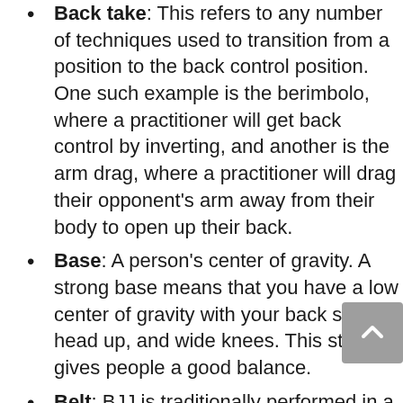Back take: This refers to any number of techniques used to transition from a position to the back control position. One such example is the berimbolo, where a practitioner will get back control by inverting, and another is the arm drag, where a practitioner will drag their opponent's arm away from their body to open up their back.
Base: A person's center of gravity. A strong base means that you have a low center of gravity with your back straight, head up, and wide knees. This stance gives people a good balance.
Belt: BJJ is traditionally performed in a gi or kimono with a belt. Your belt denotes your rank, with the adult BJJ rank system including the white, blue,